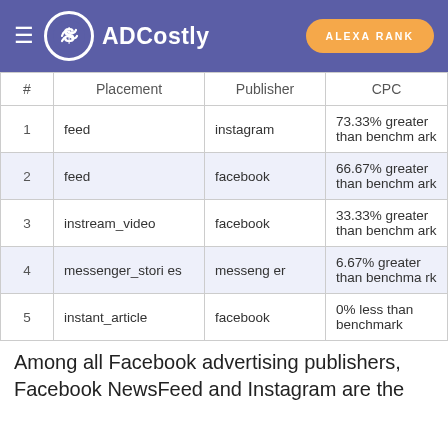ADCostly | ALEXA RANK
| # | Placement | Publisher | CPC |
| --- | --- | --- | --- |
| 1 | feed | instagram | 73.33% greater than benchmark |
| 2 | feed | facebook | 66.67% greater than benchmark |
| 3 | instream_video | facebook | 33.33% greater than benchmark |
| 4 | messenger_stories | messenger | 6.67% greater than benchmark |
| 5 | instant_article | facebook | 0% less than benchmark |
Among all Facebook advertising publishers, Facebook NewsFeed and Instagram are the